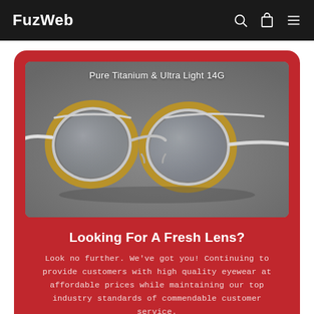FuzWeb
[Figure (photo): Close-up product photo of Pure Titanium & Ultra Light 14G eyeglasses with dual bridge, gold and silver frames, on a grey surface.]
Looking For A Fresh Lens?
Look no further. We've got you! Continuing to provide customers with high quality eyewear at affordable prices while maintaining our top industry standards of commendable customer service.